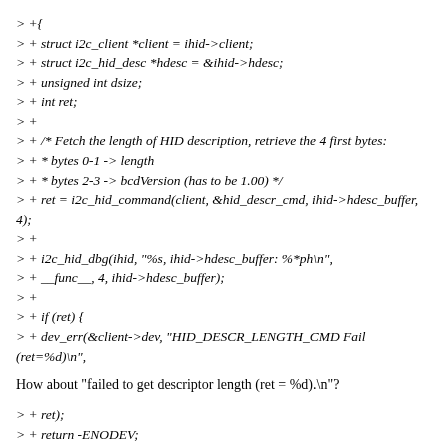> +{
> + struct i2c_client *client = ihid->client;
> + struct i2c_hid_desc *hdesc = &ihid->hdesc;
> + unsigned int dsize;
> + int ret;
> +
> + /* Fetch the length of HID description, retrieve the 4 first bytes:
> + * bytes 0-1 -> length
> + * bytes 2-3 -> bcdVersion (has to be 1.00) */
> + ret = i2c_hid_command(client, &hid_descr_cmd, ihid->hdesc_buffer, 4);
> +
> + i2c_hid_dbg(ihid, "%s, ihid->hdesc_buffer: %*ph\n",
> + __func__, 4, ihid->hdesc_buffer);
> +
> + if (ret) {
> + dev_err(&client->dev, "HID_DESCR_LENGTH_CMD Fail (ret=%d)\n",
How about "failed to get descriptor length (ret = %d).\n"?
> + ret);
> + return -ENODEV;